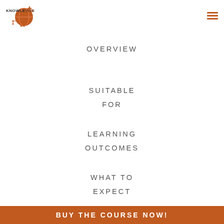KNOWLEDGEADD
OVERVIEW
SUITABLE FOR
LEARNING OUTCOMES
WHAT TO EXPECT
BUY THE COURSE NOW!